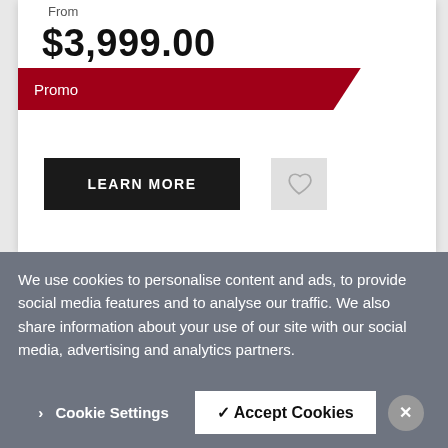From
$3,999.00
Promo
LEARN MORE
[Figure (illustration): Heart/wishlist icon button]
We use cookies to personalise content and ads, to provide social media features and to analyse our traffic. We also share information about your use of our site with our social media, advertising and analytics partners.
Cookie Settings
✓ Accept Cookies